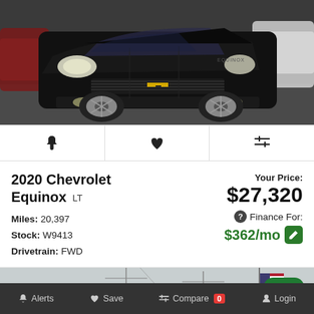[Figure (photo): Black 2020 Chevrolet Equinox SUV photographed from the front in a dealership lot, with a dark parking lot background and other vehicles visible.]
[Figure (infographic): Icon bar with three icons: bell (alerts), heart (save), compare arrows (compare)]
2020 Chevrolet Equinox LT
Miles: 20,397
Stock: W9413
Drivetrain: FWD
Your Price: $27,320
Finance For: $362/mo
[Figure (photo): Partial photo of another vehicle in a dealership lot with American flag and trees visible in the background.]
Alerts  Save  Compare 0  Login